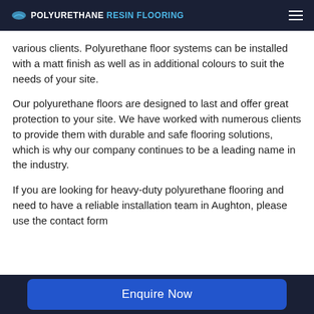POLYURETHANE RESIN FLOORING
various clients. Polyurethane floor systems can be installed with a matt finish as well as in additional colours to suit the needs of your site.
Our polyurethane floors are designed to last and offer great protection to your site. We have worked with numerous clients to provide them with durable and safe flooring solutions, which is why our company continues to be a leading name in the industry.
If you are looking for heavy-duty polyurethane flooring and need to have a reliable installation team in Aughton, please use the contact form
Enquire Now